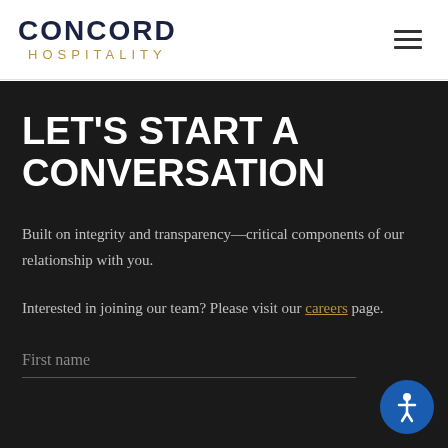[Figure (logo): Concord Hospitality logo with CONCORD in dark navy and HOSPITALITY in gold lettering below]
LET'S START A CONVERSATION
Built on integrity and transparency—critical components of our relationship with you.
Interested in joining our team? Please visit our careers page.
First name